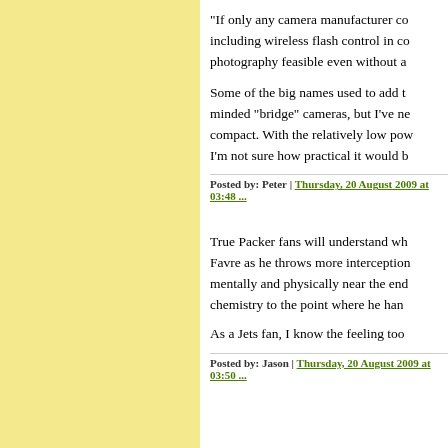"If only any camera manufacturer co... including wireless flash control in co... photography feasible even without a...
Some of the big names used to add t... minded "bridge" cameras, but I've ne... compact. With the relatively low pow... I'm not sure how practical it would b...
Posted by: Peter | Thursday, 20 August 2009 at 03:48 ...
True Packer fans will understand wh... Favre as he throws more interception... mentally and physically near the end... chemistry to the point where he han...
As a Jets fan, I know the feeling too ...
Posted by: Jason | Thursday, 20 August 2009 at 03:50 ...